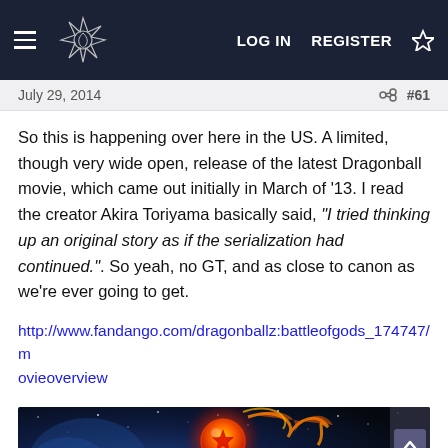LOG IN   REGISTER
July 29, 2014   #61
So this is happening over here in the US. A limited, though very wide open, release of the latest Dragonball movie, which came out initially in March of '13. I read the creator Akira Toriyama basically said, "I tried thinking up an original story as if the serialization had continued.". So yeah, no GT, and as close to canon as we're ever going to get.
http://www.fandango.com/dragonballz:battleofgods_174747/movieoverview
[Figure (photo): Dragon Ball Z: Battle of Gods movie banner with space background, featuring a glowing dragon ball on fire and the Dragon Ball Z Battle of Gods logo in yellow and red.]